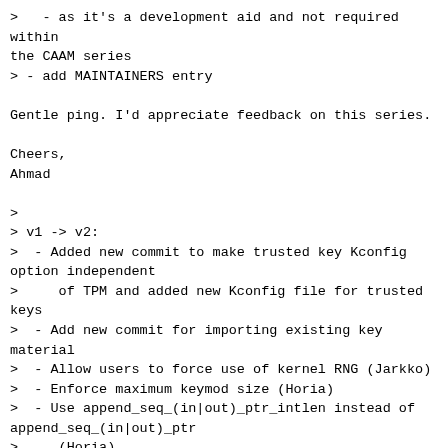>   - as it's a development aid and not required within the CAAM series
> - add MAINTAINERS entry

Gentle ping. I'd appreciate feedback on this series.

Cheers,
Ahmad

>
> v1 -> v2:
>  - Added new commit to make trusted key Kconfig option independent
>     of TPM and added new Kconfig file for trusted keys
>  - Add new commit for importing existing key material
>  - Allow users to force use of kernel RNG (Jarkko)
>  - Enforce maximum keymod size (Horia)
>  - Use append_seq_(in|out)_ptr_intlen instead of append_seq_(in|out)_ptr
>     (Horia)
>  - Make blobifier handle private to CAAM glue code file (Horia)
>  - Extend trusted keys documentation for CAAM
>  - Rebased and updated original cover letter:
>
> The Cryptographic Acceleration and Assurance Module (CAAM) is an IP core
> built into many newer i.MX and QorIQ SoCs by NXP.
>
> Its blob mechanism can AES encrypt/decrypt user data using a unique